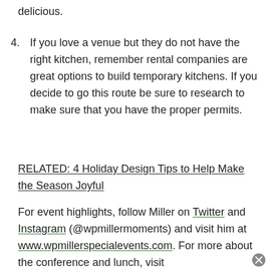delicious.
4. If you love a venue but they do not have the right kitchen, remember rental companies are great options to build temporary kitchens. If you decide to go this route be sure to research to make sure that you have the proper permits.
RELATED: 4 Holiday Design Tips to Help Make the Season Joyful
For event highlights, follow Miller on Twitter and Instagram (@wpmillermoments) and visit him at www.wpmillerspecialevents.com. For more about the conference and lunch, visit www.thespecialeventshow.com